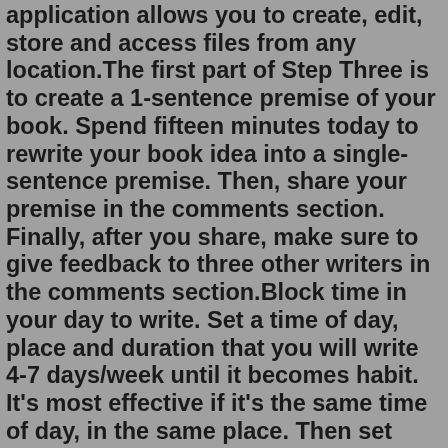application allows you to create, edit, store and access files from any location.The first part of Step Three is to create a 1-sentence premise of your book. Spend fifteen minutes today to rewrite your book idea into a single-sentence premise. Then, share your premise in the comments section. Finally, after you share, make sure to give feedback to three other writers in the comments section.Block time in your day to write. Set a time of day, place and duration that you will write 4-7 days/week until it becomes habit. It’s most effective if it’s the same time of day, in the same place. Then set your duration to a number of minutes or a number of words: 60 minutes, 500 words, whatever. The importance of symbolism can be seen in the earliest recorded forms of human storytelling—cave paintings and hieroglyphics—which are quite literally symbols representing more complex narratives or beliefs. Symbolism allows writers to express complex ideas while giving the reader a visual, sensory experience.That's a lot of writing each day, and it has led to some incredible results: King is one of the most